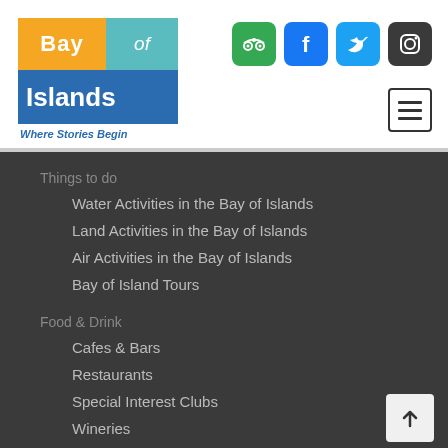[Figure (logo): Bay of Islands logo with orange 'Bay', teal 'of', blue 'Islands' blocks and tagline 'Where Stories Begin']
[Figure (infographic): Social media icons: TripAdvisor (green), Facebook (blue), Twitter (light blue), Instagram (dark)]
[Figure (other): Navigation menu hamburger icon]
Things to do
Water Activities in the Bay of Islands
Land Activities in the Bay of Islands
Air Activities in the Bay of Islands
Bay of Island Tours
Food & Drink
Cafes & Bars
Restaurants
Special Interest Clubs
Wineries